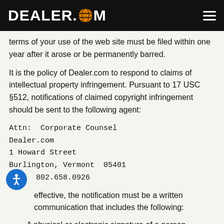DEALER.COM
terms of your use of the web site must be filed within one year after it arose or be permanently barred.
It is the policy of Dealer.com to respond to claims of intellectual property infringement. Pursuant to 17 USC §512, notifications of claimed copyright infringement should be sent to the following agent:
Attn:  Corporate Counsel
Dealer.com
1 Howard Street
Burlington, Vermont  05401
Fax:  802.658.0926
To be effective, the notification must be a written communication that includes the following:
A physical or electronic signature of a person